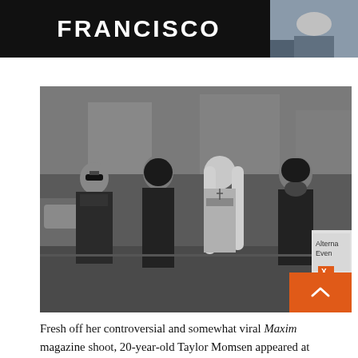FRANCISCO
[Figure (photo): Black and white photo of four members of The Pretty Reckless band standing on a street. One blonde female with long hair in the center wearing a light outfit with a belt, flanked by three males in dark leather jackets.]
Fresh off her controversial and somewhat viral Maxim magazine shoot, 20-year-old Taylor Momsen appeared at Slim's in San Francisco with her band The Pretty Reckless over the weekend in support of the new album Going to Hell. We'll get to the review in a moment, but first